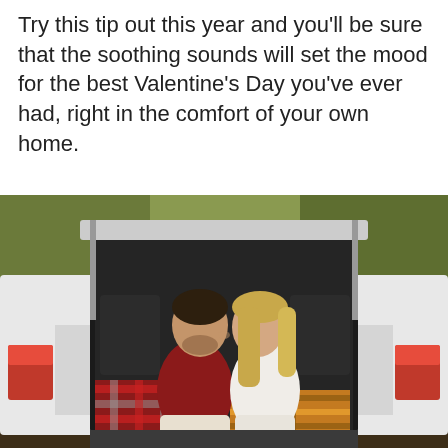Try this tip out this year and you'll be sure that the soothing sounds will set the mood for the best Valentine's Day you've ever had, right in the comfort of your own home.
[Figure (photo): A couple sitting in the open trunk/boot of a white SUV with the hatch open, surrounded by autumn foliage. The man in a red sweater and the woman in a white sweater face each other intimately, with plaid blankets (red/grey and orange/brown) draped around them.]